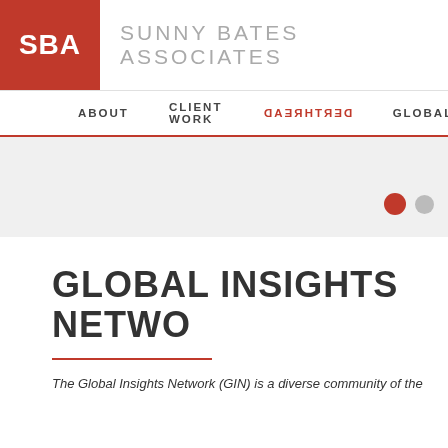SBA | SUNNY BATES ASSOCIATES
ABOUT   CLIENT WORK   DERTHREAD   GLOBAL
[Figure (other): Gray hero/slider area with a red dot and gray dot indicating carousel position]
GLOBAL INSIGHTS NETWO
The Global Insights Network (GIN) is a diverse community of the